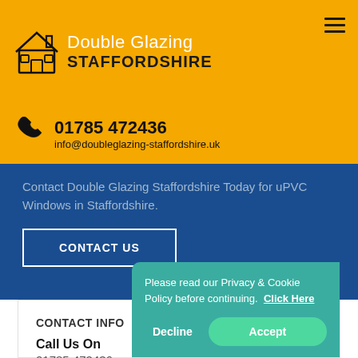Double Glazing STAFFORDSHIRE
01785 472436
info@doubleglazing-staffordshire.uk
Contact Double Glazing Staffordshire Today for uPVC Windows in Staffordshire.
CONTACT US
CONTACT INFO
Call Us On
01785 472436
Please read our Privacy & Cookie Policy before continuing.  Click Here
Decline  Accept